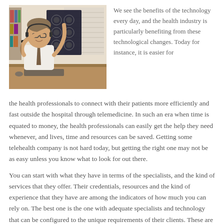[Figure (photo): A male doctor or medical professional wearing a headset, holding up a brain MRI scan film, seated at a desk with a keyboard and computer equipment.]
We see the benefits of the technology every day, and the health industry is particularly benefiting from these technological changes. Today for instance, it is easier for the health professionals to connect with their patients more efficiently and fast outside the hospital through telemedicine. In such an era when time is equated to money, the health professionals can easily get the help they need whenever, and lives, time and resources can be saved. Getting some telehealth company is not hard today, but getting the right one may not be as easy unless you know what to look for out there.
You can start with what they have in terms of the specialists, and the kind of services that they offer. Their credentials, resources and the kind of experience that they have are among the indicators of how much you can rely on. The best one is the one with adequate specialists and technology that can be configured to the unique requirements of their clients. These are medical professionals too, and there are a number of things that they learn along the way which makes them better at what